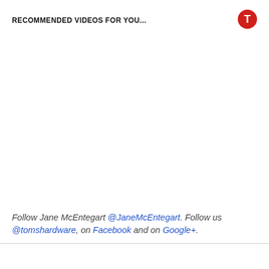RECOMMENDED VIDEOS FOR YOU...
[Figure (logo): Tom's Hardware red circular logo with white T icon]
Follow Jane McEntegart @JaneMcEntegart. Follow us @tomshardware, on Facebook and on Google+.